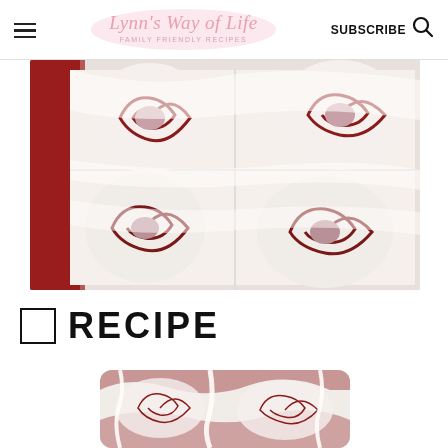Lynn's Way of Life - Family Friendly Recipes | SUBSCRIBE
[Figure (photo): Close-up overhead view of red velvet cinnamon rolls with white cream cheese frosting in a baking pan, showing swirled red and white pattern]
☐ RECIPE
[Figure (photo): Close-up of red velvet cinnamon rolls with cream cheese frosting, partially cropped at bottom of page]